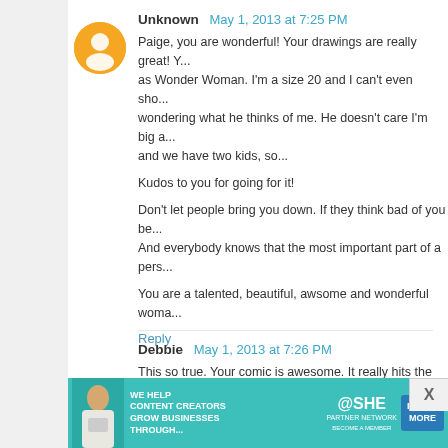Unknown  May 1, 2013 at 7:25 PM
Paige, you are wonderful! Your drawings are really great! Y... as Wonder Woman. I'm a size 20 and I can't even sho... wondering what he thinks of me. He doesn't care I'm big a... and we have two kids, so...
Kudos to you for going for it!
Don't let people bring you down. If they think bad of you be... And everybody knows that the most important part of a pers...
You are a talented, beautiful, awsome and wonderful woma...
Reply
Debbie  May 1, 2013 at 7:26 PM
This so true. Your comic is awesome. It really hits the nail o...
They say they support women and then they draw them as... showed both sides of the story, neither the skinny girl with... Its a catch 22. And I know what its like to absolutely lov... cool.
[Figure (infographic): Advertisement banner: teal background with woman holding laptop, text 'WE HELP CONTENT CREATORS GROW BUSINESSES THROUGH...' SHE PARTNER NETWORK logo, LEARN MORE button]